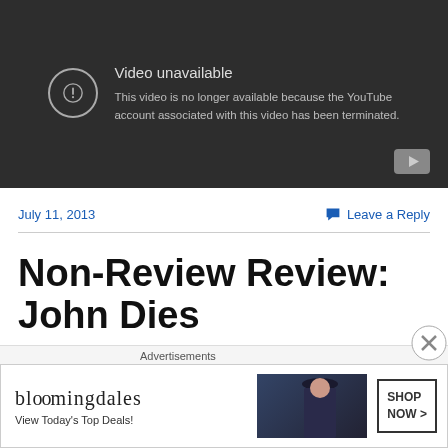[Figure (screenshot): YouTube video unavailable placeholder with dark background, exclamation icon in circle, text 'Video unavailable' and 'This video is no longer available because the YouTube account associated with this video has been terminated.' YouTube play button logo in bottom right.]
July 11, 2013
Leave a Reply
Non-Review Review: John Dies
[Figure (other): Bloomingdale's advertisement banner: 'bloomingdales View Today's Top Deals! SHOP NOW >']